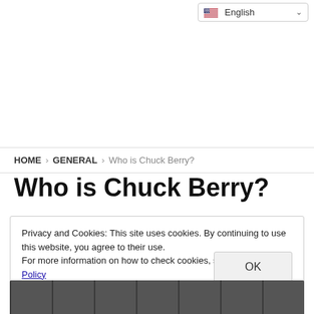[Figure (screenshot): Language selector dropdown showing English with US flag and chevron]
HOME > GENERAL > Who is Chuck Berry?
Who is Chuck Berry?
Privacy and Cookies: This site uses cookies. By continuing to use this website, you agree to their use.
For more information on how to check cookies, see here: Cookie Policy
[Figure (photo): Black and white photo strip at the bottom of the page]